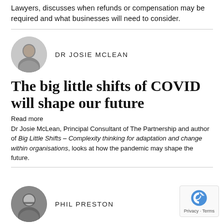Lawyers, discusses when refunds or compensation may be required and what businesses will need to consider.
[Figure (photo): Circular headshot photo of Dr Josie McLean]
DR JOSIE MCLEAN
The big little shifts of COVID will shape our future
Read more
Dr Josie McLean, Principal Consultant of The Partnership and author of Big Little Shifts – Complexity thinking for adaptation and change within organisations, looks at how the pandemic may shape the future.
[Figure (photo): Circular headshot photo of Phil Preston]
PHIL PRESTON